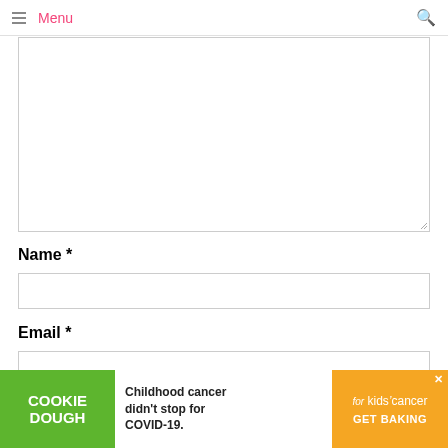Menu
Name *
Email *
[Figure (screenshot): Advertisement banner: Cookie Dough - Childhood cancer didn't stop for COVID-19. Cookies for kids cancer. GET BAKING.]